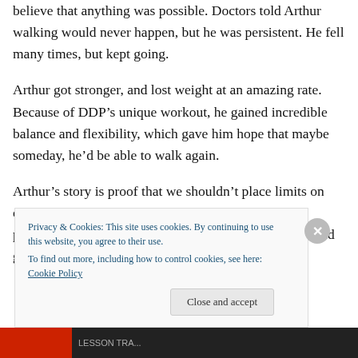believe that anything was possible. Doctors told Arthur walking would never happen, but he was persistent. He fell many times, but kept going.
Arthur got stronger, and lost weight at an amazing rate. Because of DDP’s unique workout, he gained incredible balance and flexibility, which gave him hope that maybe someday, he’d be able to walk again.
Arthur’s story is proof that we shouldn’t place limits on our capabilities. Often we don’t even know our own potential. Niether Arthur, nor Dallas knew what he would go on to
Privacy & Cookies: This site uses cookies. By continuing to use this website, you agree to their use.
To find out more, including how to control cookies, see here: Cookie Policy
Close and accept